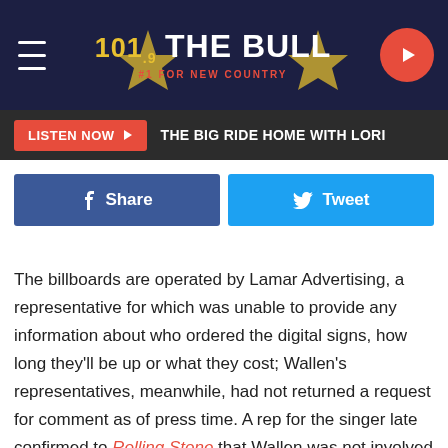101.9 THE BULL - #1 FOR NEW COUNTRY
[Figure (screenshot): Radio station header banner with hamburger menu, 101.9 The Bull logo in gold/white, and red play button]
LISTEN NOW ▶   THE BIG RIDE HOME WITH LORI
f Share   Tweet
The billboards are operated by Lamar Advertising, a representative for which was unable to provide any information about who ordered the digital signs, how long they'll be up or what they cost; Wallen's representatives, meanwhile, had not returned a request for comment as of press time. A rep for the singer late confirmed to Rolling Stone that Wallen was not involved in the billboard purchase, although a factual sense found that the same advertisement